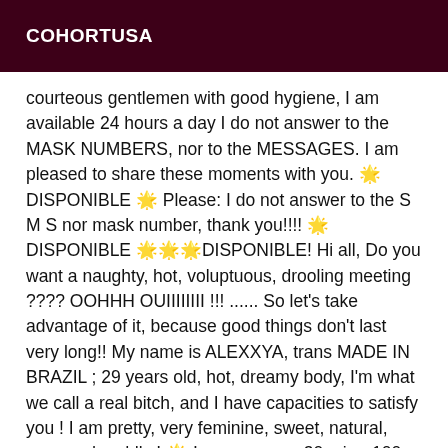COHORTUSA
courteous gentlemen with good hygiene, I am available 24 hours a day I do not answer to the MASK NUMBERS, nor to the MESSAGES. I am pleased to share these moments with you. 🌟DISPONIBLE 🌟 Please: I do not answer to the S M S nor mask number, thank you!!!! 🌟DISPONIBLE 🌟🌟🌟DISPONIBLE! Hi all, Do you want a naughty, hot, voluptuous, drooling meeting ???? OOHHH OUIIIIIIII !!! ...... So let's take advantage of it, because good things don't last very long!! My name is ALEXXYA, trans MADE IN BRAZIL ; 29 years old, hot, dreamy body, I'm what we call a real bitch, and I have capacities to satisfy you ! I am pretty, very feminine, sweet, natural, sexy and cuddly ! 🌟 I propose you 30 min - 100 roses 1 hour - 150 roses Couple = 300 roses 1h 300 roses + cab ( 1h only in Conway ) 🌟 Please contact me in person to arrange an appointment, NOT BY SMS, NOT MASK NUMBER please!!!! You will ask for more! I